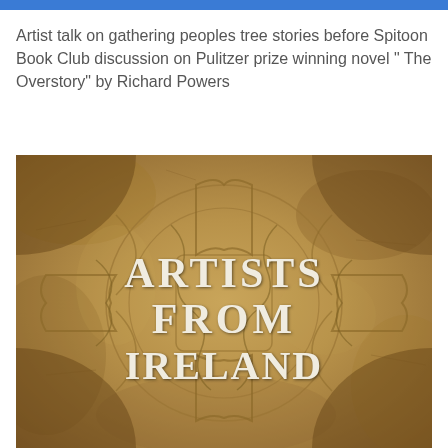Artist talk on gathering peoples tree stories before Spitoon Book Club discussion on Pulitzer prize winning novel " The Overstory" by Richard Powers
[Figure (illustration): A textured brown/tan aged parchment background with a Celtic knot cross design. In the center, large serif white text reads 'ARTISTS FROM IRELAND' in a Celtic-style font.]